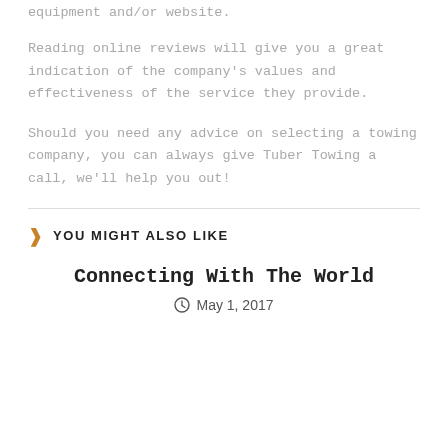equipment and/or website.
Reading online reviews will give you a great indication of the company's values and effectiveness of the service they provide.
Should you need any advice on selecting a towing company, you can always give Tuber Towing a call, we'll help you out!
YOU MIGHT ALSO LIKE
Connecting With The World
May 1, 2017